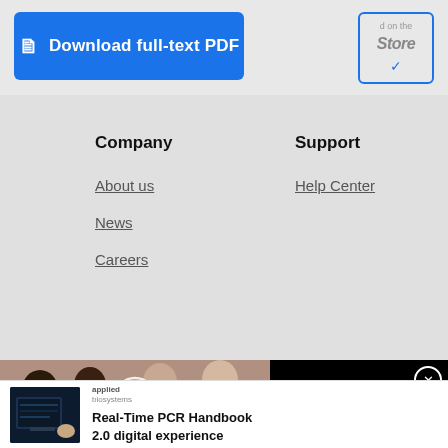Download full-text PDF
d on the Store
Company
Support
About us
News
Careers
Help Center
[Figure (screenshot): Video thumbnail showing people in a meeting/office setting with text overlay 'ARE MARKETING ... ON AUTOPILOT?' and a play button]
Are marketing budgets on autopilot?
[Figure (photo): Laptop showing DNA/genomics data on screen, hands nearby]
Real-Time PCR Handbook 2.0 digital experience